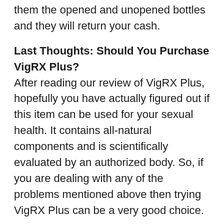them the opened and unopened bottles and they will return your cash.
Last Thoughts: Should You Purchase VigRX Plus?
After reading our review of VigRX Plus, hopefully you have actually figured out if this item can be used for your sexual health. It contains all-natural components and is scientifically evaluated by an authorized body. So, if you are dealing with any of the problems mentioned above then trying VigRX Plus can be a very good choice.
Click here to Get the Best Discount Rate on VigRX Plus from the Official Website.
Related: